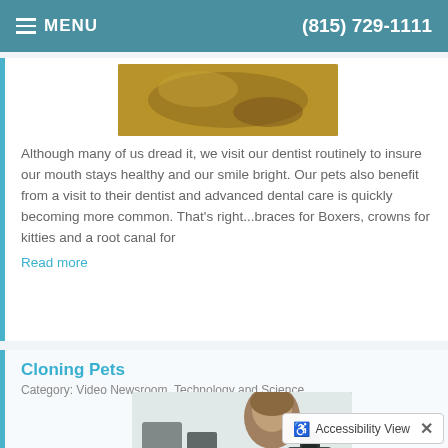MENU | (815) 729-1111
[Figure (photo): Close-up photo of a dental procedure or dental equipment]
Although many of us dread it, we visit our dentist routinely to insure our mouth stays healthy and our smile bright. Our pets also benefit from a visit to their dentist and advanced dental care is quickly becoming more common. That's right...braces for Boxers, crowns for kitties and a root canal for
Read more
Cloning Pets
Category: Video Newsroom, Technology and Science
[Figure (photo): Man looking through a microscope in a lab setting]